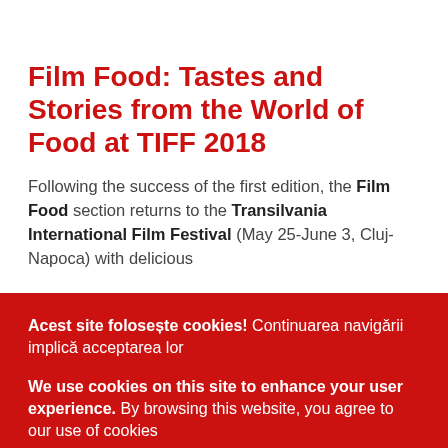Film Food: Tastes and Stories from the World of Food at TIFF 2018
Following the success of the first edition, the Film Food section returns to the Transilvania International Film Festival (May 25-June 3, Cluj-Napoca) with delicious
Acest site folosește cookies! Continuarea navigării implică acceptarea lor

We use cookies on this site to enhance your user experience. By browsing this website, you agree to our use of cookies
More info
OK, Accept | I agree   Decline